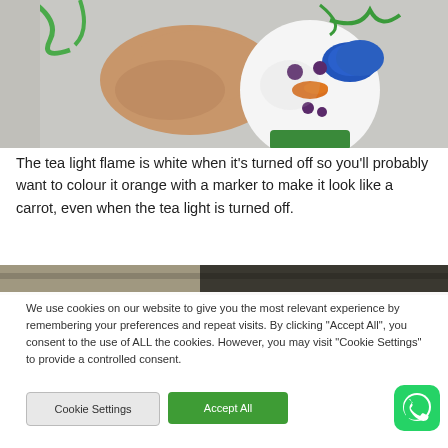[Figure (photo): Close-up photo of a snowman ornament with a white ball head with purple dot eyes, orange carrot nose, and blue fluffy earmuffs trimmed with green ribbon. A human hand/finger is visible touching the ornament. Green pipe cleaners visible at top.]
The tea light flame is white when it's turned off so you'll probably want to colour it orange with a marker to make it look like a carrot, even when the tea light is turned off.
[Figure (photo): Partial photo visible at bottom edge, showing a close-up of hands working on a craft project against a blurred background.]
We use cookies on our website to give you the most relevant experience by remembering your preferences and repeat visits. By clicking "Accept All", you consent to the use of ALL the cookies. However, you may visit "Cookie Settings" to provide a controlled consent.